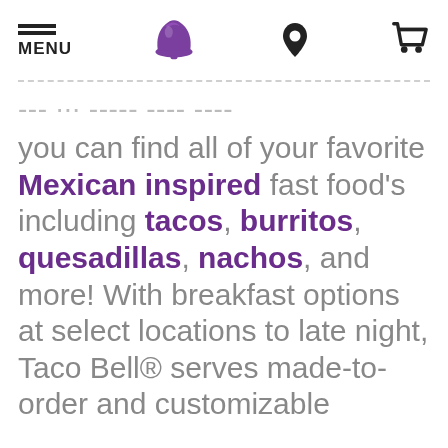MENU | [Taco Bell Logo] | [Location Icon] | [Cart Icon]
... you can find all of your favorite Mexican inspired fast food's including tacos, burritos, quesadillas, nachos, and more! With breakfast options at select locations to late night, Taco Bell® serves made-to-order and customizable